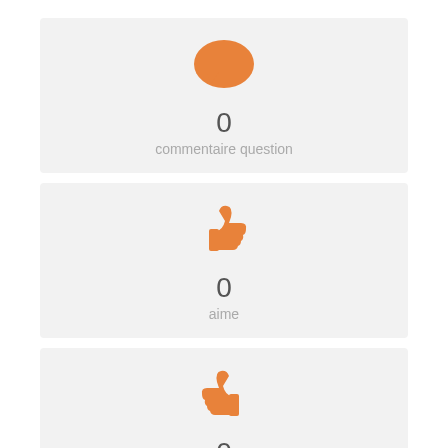[Figure (infographic): Orange speech bubble icon]
0
commentaire question
[Figure (infographic): Orange thumbs up icon (like)]
0
aime
[Figure (infographic): Orange thumbs up received icon]
0
j'aime reçus
[Figure (infographic): Orange star icon and ESCI badge]